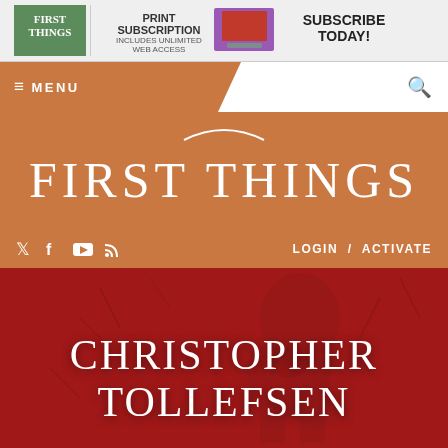[Figure (screenshot): First Things magazine banner advertisement showing logo, print subscription offer, device images, and Subscribe Today call to action]
≡ MENU
FIRST THINGS
LOGIN / ACTIVATE
[Figure (illustration): Dark red hero banner with a faint background image of a thinker/philosopher figure, overlaid with the text CHRISTOPHER TOLLEFSEN]
CHRISTOPHER TOLLEFSEN